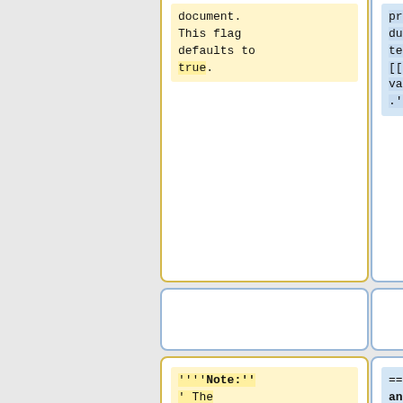document. This flag defaults to true.
programs during testing. See [[schema validation]].''
''''Note:''' The COLLADA DOM XML parser does not fully validate the data. It detects some types of errors in XML input but not all
==Querying and Removing Documents==